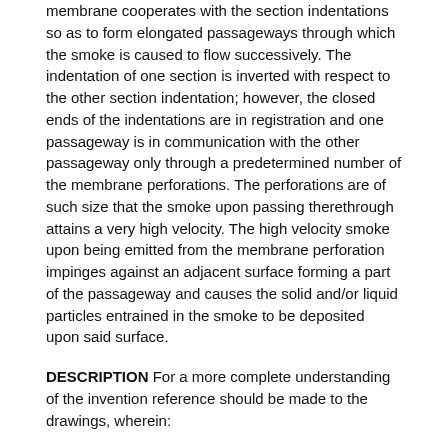membrane cooperates with the section indentations so as to form elongated passageways through which the smoke is caused to flow successively. The indentation of one section is inverted with respect to the other section indentation; however, the closed ends of the indentations are in registration and one passageway is in communication with the other passageway only through a predetermined number of the membrane perforations. The perforations are of such size that the smoke upon passing therethrough attains a very high velocity. The high velocity smoke upon being emitted from the membrane perforation impinges against an adjacent surface forming a part of the passageway and causes the solid and/or liquid particles entrained in the smoke to be deposited upon said surface.
DESCRIPTION For a more complete understanding of the invention reference should be made to the drawings, wherein:
FIG. 1 is an enlarged fragmentary side elevational view of one form of the improved cigarette filter and having portions thereof shown in longitudinal section.
FIG. 2 is an enlarged top perspective view of the